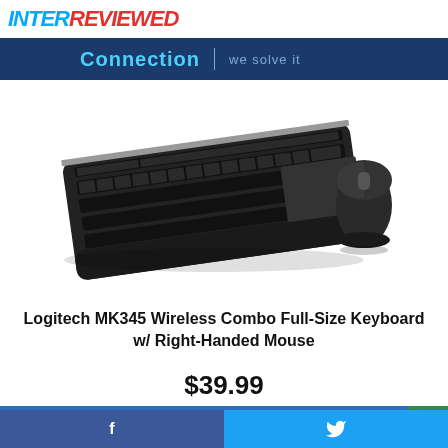INTERREVIEWED
[Figure (screenshot): Connection | we solve it banner with dark blue background]
[Figure (photo): Logitech MK345 wireless keyboard and right-handed mouse combo product photo on white background]
Logitech MK345 Wireless Combo Full-Size Keyboard w/ Right-Handed Mouse
$39.99
Buy Now